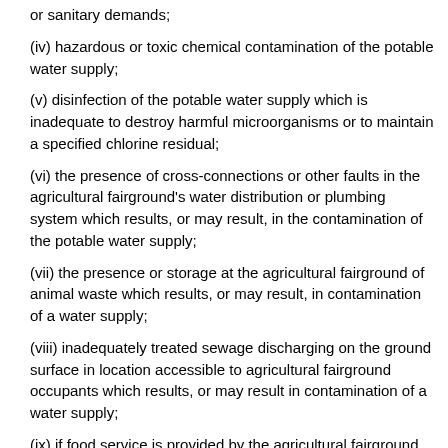or sanitary demands;
(iv) hazardous or toxic chemical contamination of the potable water supply;
(v) disinfection of the potable water supply which is inadequate to destroy harmful microorganisms or to maintain a specified chlorine residual;
(vi) the presence of cross-connections or other faults in the agricultural fairground's water distribution or plumbing system which results, or may result, in the contamination of the potable water supply;
(vii) the presence or storage at the agricultural fairground of animal waste which results, or may result, in contamination of a water supply;
(viii) inadequately treated sewage discharging on the ground surface in location accessible to agricultural fairground occupants which results, or may result in contamination of a water supply;
(ix) if food service is provided by the agricultural fairground owner, the presence of any public health hazard identified in section 44-140(b) or (c)